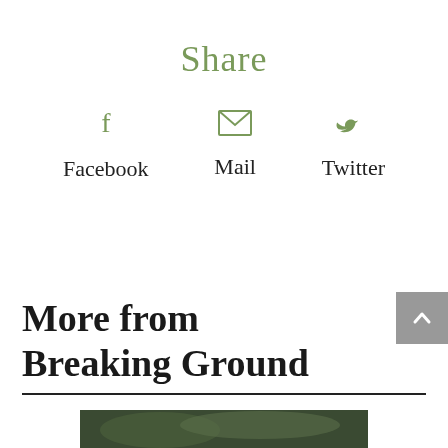Share
[Figure (infographic): Three social sharing icons: Facebook (f), Mail (envelope), Twitter (bird), each with label below]
More from Breaking Ground
[Figure (photo): Partial photo of nature/plant scene, green tones, partially visible at bottom of page]